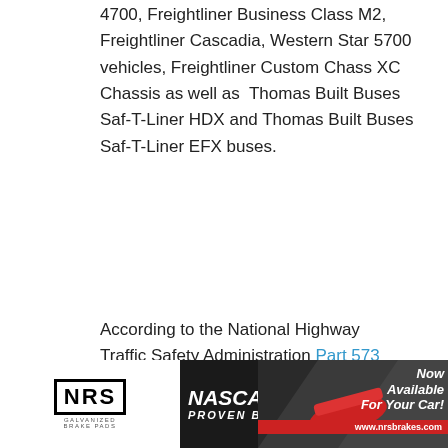4700, Freightliner Business Class M2, Freightliner Cascadia, Western Star 5700 vehicles, Freightliner Custom Chass XC Chassis as well as Thomas Built Buses Saf-T-Liner HDX and Thomas Built Buses Saf-T-Liner EFX buses.
According to the National Highway Traffic Safety Administration Part 573 Safety Recall Report 21V-018 and Part 573 Safety Recall Report 21V-017 a loose caliper-mounting bolt could eventually lead to a vehicle mishap.
Related post:
Daimler Recalls Trucks Due to Brake-Light Issue
[Figure (infographic): NRS Galvanized Brake Pads advertisement banner with NASCAR Proven Brakes logo, racing car image, and 'Now Available For Your Car!' text with www.nrsbrakes.com URL]